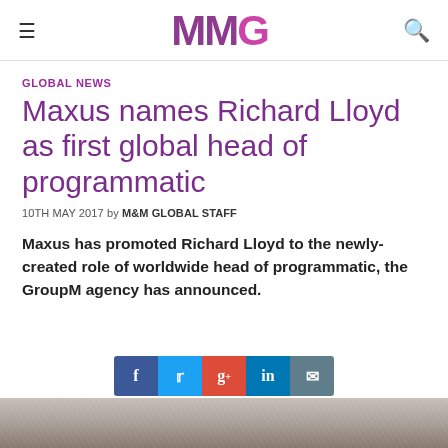MMG
GLOBAL NEWS
Maxus names Richard Lloyd as first global head of programmatic
10TH MAY 2017 by M&M GLOBAL STAFF
Maxus has promoted Richard Lloyd to the newly-created role of worldwide head of programmatic, the GroupM agency has announced.
[Figure (other): Social sharing bar with Facebook, Twitter, Google+, LinkedIn, and email buttons]